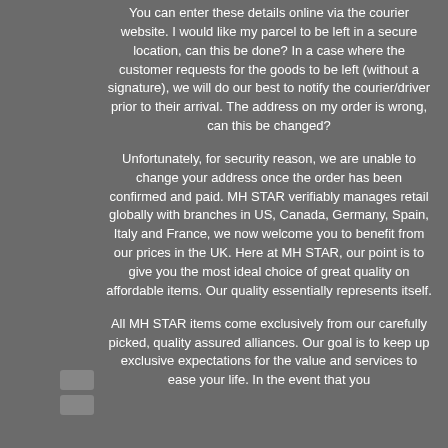You can enter these details online via the courier website. I would like my parcel to be left in a secure location, can this be done? In a case where the customer requests for the goods to be left (without a signature), we will do our best to notify the courier/driver prior to their arrival. The address on my order is wrong, can this be changed?
Unfortunately, for security reason, we are unable to change your address once the order has been confirmed and paid. MH STAR verifiably manages retail globally with branches in US, Canada, Germany, Spain, Italy and France, we now welcome you to benefit from our prices in the UK. Here at MH STAR, our point is to give you the most ideal choice of great quality on affordable items. Our quality essentially represents itself.
All MH STAR items come exclusively from our carefully picked, quality assured alliances. Our goal is to keep up exclusive expectations for the value and services to ease your life. In the event that you